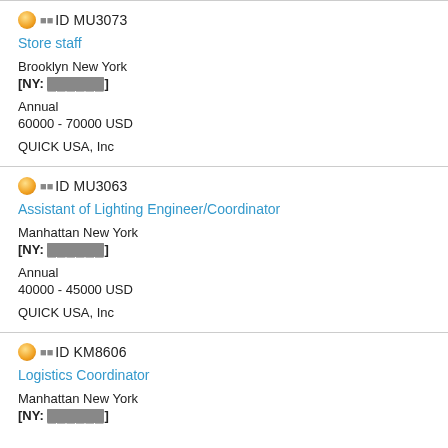ID MU3073 | Store staff | Brooklyn New York | [NY: ██████] | Annual | 60000 - 70000 USD | QUICK USA, Inc
ID MU3063 | Assistant of Lighting Engineer/Coordinator | Manhattan New York | [NY: ██████] | Annual | 40000 - 45000 USD | QUICK USA, Inc
ID KM8606 | Logistics Coordinator | Manhattan New York | [NY: ██████]